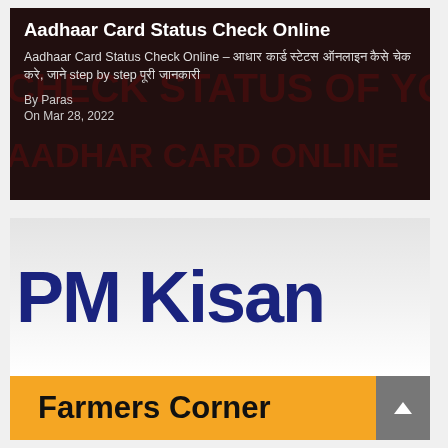[Figure (screenshot): Article card with dark background showing text overlay. Background has large red text reading CHECK STATUS OF YOU and AADHAR CARD ONLINE. Foreground shows article title and metadata in white text.]
Aadhaar Card Status Check Online
Aadhaar Card Status Check Online – आधार कार्ड स्टेटस ऑनलाइन कैसे चेक करे, जाने step by step पूरी जानकारी
By Paras
On Mar 28, 2022
[Figure (screenshot): PM Kisan website screenshot showing large blue bold text 'PM Kisan' on a light grey/white background, with a yellow 'Farmers Corner' banner at the bottom.]